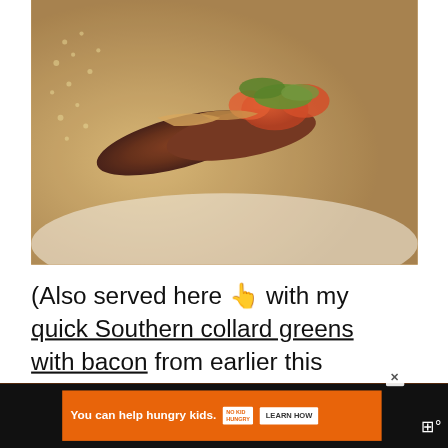[Figure (photo): Close-up food photo of a meat dish topped with sautéed onions, tomatoes, and greens, served with what appears to be couscous or quinoa on a white background.]
(Also served here 👆 with my quick Southern collard greens with bacon from earlier this week. That was a good dinner!)
[Figure (photo): Thumbnail of Crock Pot Mediterranean dish for 'What's Next' section]
WHAT'S NEXT → Crock Pot Mediterrane...
You can help hungry kids. NO KID HUNGRY LEARN HOW